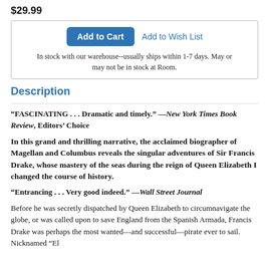$29.99
Add to Cart  Add to Wish List
In stock with our warehouse--usually ships within 1-7 days. May or may not be in stock at Room.
Description
“FASCINATING . . . Dramatic and timely.” —New York Times Book Review, Editors’ Choice
In this grand and thrilling narrative, the acclaimed biographer of Magellan and Columbus reveals the singular adventures of Sir Francis Drake, whose mastery of the seas during the reign of Queen Elizabeth I changed the course of history.
“Entrancing . . . Very good indeed.” —Wall Street Journal
Before he was secretly dispatched by Queen Elizabeth to circumnavigate the globe, or was called upon to save England from the Spanish Armada, Francis Drake was perhaps the most wanted—and successful—pirate ever to sail. Nicknamed “El